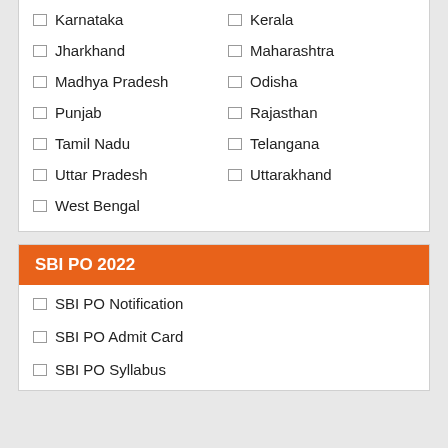Karnataka
Kerala
Jharkhand
Maharashtra
Madhya Pradesh
Odisha
Punjab
Rajasthan
Tamil Nadu
Telangana
Uttar Pradesh
Uttarakhand
West Bengal
SBI PO 2022
SBI PO Notification
SBI PO Admit Card
SBI PO Syllabus